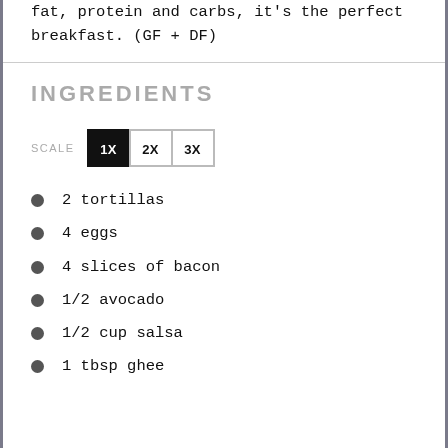fat, protein and carbs, it's the perfect breakfast. (GF + DF)
INGREDIENTS
SCALE 1X 2X 3X
2 tortillas
4 eggs
4 slices of bacon
1/2 avocado
1/2 cup salsa
1 tbsp ghee